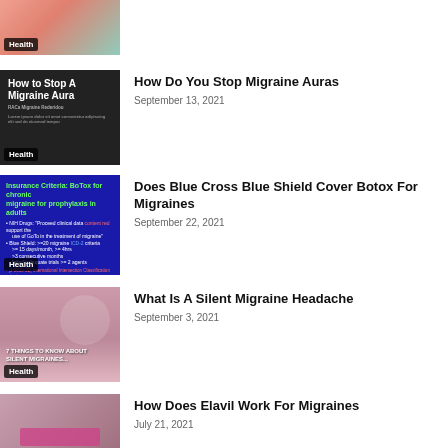[Figure (photo): Partial view of health article thumbnail with Health badge]
[Figure (photo): Dark background image with text 'How to Stop A Migraine Aura' with Health badge]
How Do You Stop Migraine Auras
September 13, 2021
[Figure (photo): Blue background slide about Insurance Criteria: BoTox for chronic migraine for prophylaxis in adults with Health badge]
Does Blue Cross Blue Shield Cover Botox For Migraines
September 22, 2021
[Figure (photo): Photo of woman with headache, text '7 Things To Know About Silent Migraines' with Health badge]
What Is A Silent Migraine Headache
September 3, 2021
[Figure (photo): Close-up photo of woman's face with pink lips]
How Does Elavil Work For Migraines
July 21, 2021